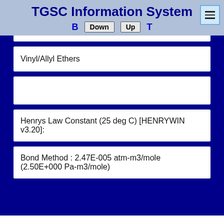TGSC Information System
B  Down  Up  T
Vinyl/Allyl Ethers
Henrys Law Constant (25 deg C) [HENRYWIN v3.20]:
Bond Method : 2.47E-005 atm-m3/mole (2.50E+000 Pa-m3/mole)